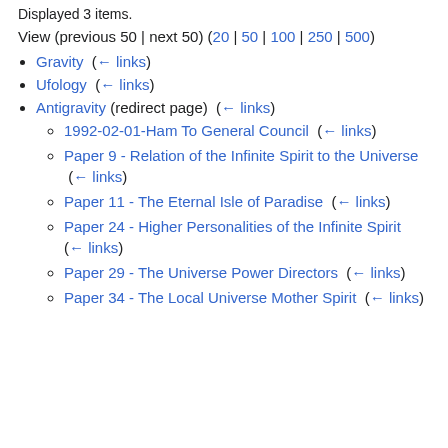Displayed 3 items.
View (previous 50 | next 50) (20 | 50 | 100 | 250 | 500)
Gravity  ( ← links )
Ufology  ( ← links )
Antigravity (redirect page)  ( ← links )
1992-02-01-Ham To General Council  ( ← links )
Paper 9 - Relation of the Infinite Spirit to the Universe  ( ← links )
Paper 11 - The Eternal Isle of Paradise  ( ← links )
Paper 24 - Higher Personalities of the Infinite Spirit  ( ← links )
Paper 29 - The Universe Power Directors  ( ← links )
Paper 34 - The Local Universe Mother Spirit  ( ← links )